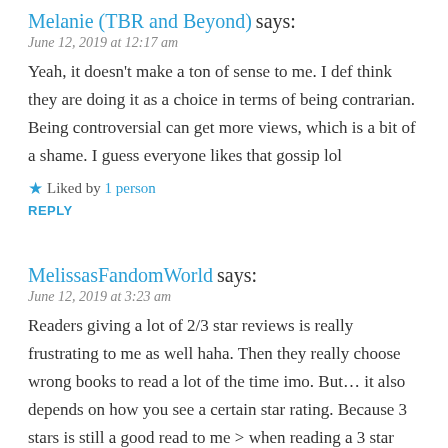Melanie (TBR and Beyond) says:
June 12, 2019 at 12:17 am
Yeah, it doesn't make a ton of sense to me. I def think they are doing it as a choice in terms of being contrarian. Being controversial can get more views, which is a bit of a shame. I guess everyone likes that gossip lol
★ Liked by 1 person
REPLY
MelissasFandomWorld says:
June 12, 2019 at 3:23 am
Readers giving a lot of 2/3 star reviews is really frustrating to me as well haha. Then they really choose wrong books to read a lot of the time imo. But… it also depends on how you see a certain star rating. Because 3 stars is still a good read to me > when reading a 3 star book, I'd still read a follow up book for example. To me, a 3 star book is one that I had remarks on but that had enjoyable elements as well. But reading numerous of